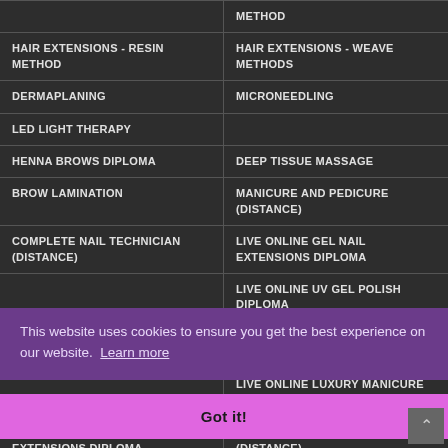|  | METHOD |
| --- | --- |
| HAIR EXTENSIONS - RESIN METHOD | HAIR EXTENSIONS - WEAVE METHODS |
| DERMAPLANING | MICRONEEDLING |
| LED LIGHT THERAPY |  |
| HENNA BROWS DIPLOMA | DEEP TISSUE MASSAGE |
| BROW LAMINATION | MANICURE AND PEDICURE (DISTANCE) |
| COMPLETE NAIL TECHNICIAN (DISTANCE) | LIVE ONLINE GEL NAIL EXTENSIONS DIPLOMA |
|  | LIVE ONLINE UV GEL POLISH DIPLOMA |
| STRIP AND INDIVIDUAL LASHES (DISTANCE) | ULTIMATE NAIL (DISTANCE) |
|  | LIVE ONLINE LUXURY MANICURE DIPLOMA |
| LIVE ONLINE EYELASH EXTENSIONS DIPLOMA | MANICURE AND GEL POLISH (DISTANCE) |
|  | ULTIMATE HOLISTIC (DISTANCE) |
|  | ...LOMA |
|  | FAT DISSOLVING INJECTION |
This website uses cookies to ensure you get the best experience on our website. Learn more
Got it!